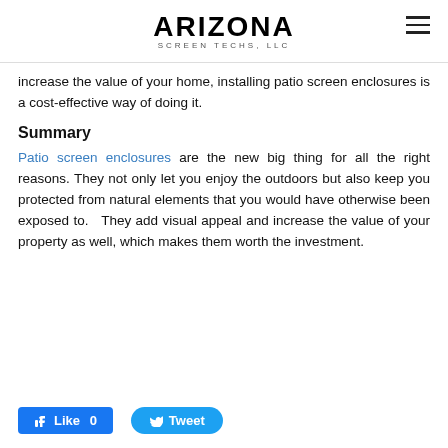Arizona Screen Techs, LLC
increase the value of your home, installing patio screen enclosures is a cost-effective way of doing it.
Summary
Patio screen enclosures are the new big thing for all the right reasons. They not only let you enjoy the outdoors but also keep you protected from natural elements that you would have otherwise been exposed to. They add visual appeal and increase the value of your property as well, which makes them worth the investment.